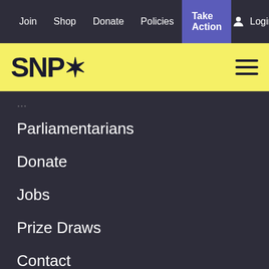Join  Shop  Donate  Policies  Take Action  Login
[Figure (logo): SNP logo with thistle symbol in black on yellow background, with hamburger menu icon on right]
Parliamentarians
Donate
Jobs
Prize Draws
Contact
We use cookies on this site to enhance your user experience. By closing this notification page you are giving your consent for us to set cookies.